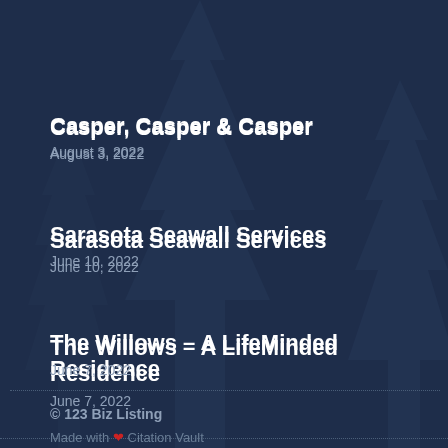Casper, Casper & Casper
August 3, 2022
Sarasota Seawall Services
June 10, 2022
The Willows – A LifeMinded Residence
June 7, 2022
© 123 Biz Listing
Made with ❤ Citation Vault